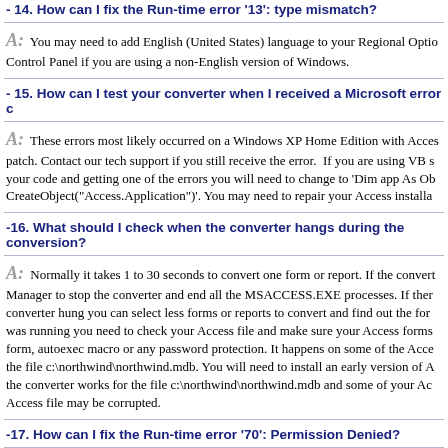- 14. How can I fix the Run-time error '13': type mismatch?
A: You may need to add English (United States) language to your Regional Options in Control Panel if you are using a non-English version of Windows.
- 15. How can I test your converter when I received a Microsoft error c
A: These errors most likely occurred on a Windows XP Home Edition with Access patch. Contact our tech support if you still receive the error. If you are using VB s your code and getting one of the errors you will need to change to 'Dim app As Ob CreateObject("Access.Application")'. You may need to repair your Access installa
-16. What should I check when the converter hangs during the conversion?
A: Normally it takes 1 to 30 seconds to convert one form or report. If the convert Manager to stop the converter and end all the MSACCESS.EXE processes. If ther converter hung you can select less forms or reports to convert and find out the for was running you need to check your Access file and make sure your Access forms form, autoexec macro or any password protection. It happens on some of the Acce the file c:\northwind\northwind.mdb. You will need to install an early version of A the converter works for the file c:\northwind\northwind.mdb and some of your Ac Access file may be corrupted.
-17. How can I fix the Run-time error '70': Permission Denied?
A: Your computer may not have the necessary registry information for the class " Access.Application class. If it's missing you may need to repair your Access. If you 7/8 system you need to run them as Administrator.